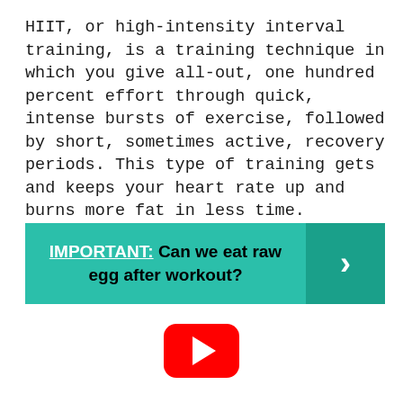HIIT, or high-intensity interval training, is a training technique in which you give all-out, one hundred percent effort through quick, intense bursts of exercise, followed by short, sometimes active, recovery periods. This type of training gets and keeps your heart rate up and burns more fat in less time.
[Figure (infographic): Teal banner with bold text reading 'IMPORTANT: Can we eat raw egg after workout?' with a darker teal right-arrow button on the right side.]
[Figure (logo): YouTube play button logo — red rounded rectangle with white triangle play icon.]